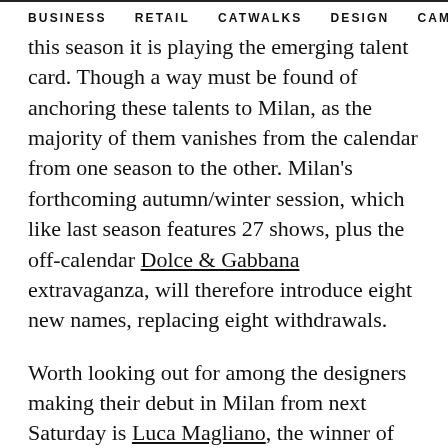BUSINESS   RETAIL   CATWALKS   DESIGN   CAMI   >
this season it is playing the emerging talent card. Though a way must be found of anchoring these talents to Milan, as the majority of them vanishes from the calendar from one season to the other. Milan's forthcoming autumn/winter session, which like last season features 27 shows, plus the off-calendar Dolce & Gabbana extravaganza, will therefore introduce eight new names, replacing eight withdrawals.
Worth looking out for among the designers making their debut in Milan from next Saturday is Luca Magliano, the winner of the 'Who is on Next? Uomo 2017' prize, renowned for his vigorous, Latin-inspired and very colourful men's ready-to-wear style. Like Magliano, also Bed J.W. Ford, which is showing on Sunday, was first